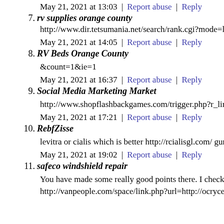May 21, 2021 at 13:03 | Report abuse | Reply
7. rv supplies orange county
http://www.dir.tetsumania.net/search/rank.cgi?mode=link&id=
May 21, 2021 at 14:05 | Report abuse | Reply
8. RV Beds Orange County
&count=1&ie=1
May 21, 2021 at 16:37 | Report abuse | Reply
9. Social Media Marketing Market
http://www.shopflashbackgames.com/trigger.php?r_link=http:
May 21, 2021 at 17:21 | Report abuse | Reply
10. RebfZisse
levitra or cialis which is better http://rcialisgl.com/ gum cialis
May 21, 2021 at 19:02 | Report abuse | Reply
11. safeco windshield repair
You have made some really good points there. I checked on th
http://vanpeople.com/space/link.php?url=http://ocrycenter.com